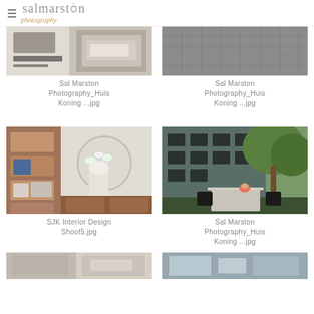≡ salmarston photography
[Figure (photo): Interior bathroom/kitchen countertop photo thumbnail - Sal Marston Photography_Huis Koning]
Sal Marston Photography_Huis Koning ...jpg
[Figure (photo): Close-up of grey quilted bedding - Sal Marston Photography_Huis Koning]
Sal Marston Photography_Huis Koning ...jpg
[Figure (photo): Interior design shoot with wooden shelving unit, orchid on sideboard - SJK Interior Design Shoot5]
SJK Interior Design Shoot5.jpg
[Figure (photo): Exterior garden photo with dark building facade, trees, and outdoor dining table - Sal Marston Photography_Huis Koning]
Sal Marston Photography_Huis Koning ...jpg
[Figure (photo): Partial thumbnail at bottom - additional interior photo]
[Figure (photo): Partial thumbnail at bottom - additional photo]